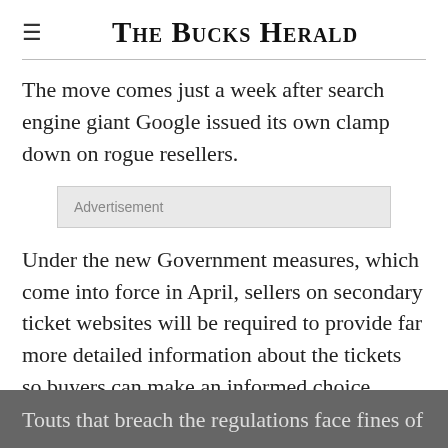The Bucks Herald
The move comes just a week after search engine giant Google issued its own clamp down on rogue resellers.
[Figure (other): Advertisement placeholder box]
Under the new Government measures, which come into force in April, sellers on secondary ticket websites will be required to provide far more detailed information about the tickets so buyers can make an informed choice.
Touts that breach the regulations face fines of